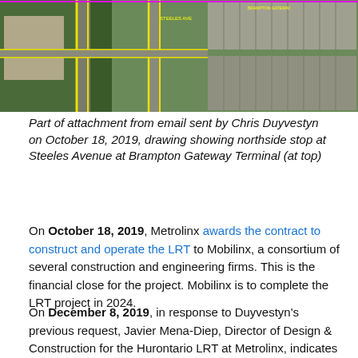[Figure (photo): Aerial satellite view of Steeles Avenue at Brampton Gateway Terminal showing road layout and parking lots with yellow route markings overlaid.]
Part of attachment from email sent by Chris Duyvestyn on October 18, 2019, drawing showing northside stop at Steeles Avenue at Brampton Gateway Terminal (at top)
On October 18, 2019, Metrolinx awards the contract to construct and operate the LRT to Mobilinx, a consortium of several construction and engineering firms. This is the financial close for the project. Mobilinx is to complete the LRT project in 2024.
On December 8, 2019, in response to Duyvestyn's previous request, Javier Mena-Diep, Director of Design & Construction for the Hurontario LRT at Metrolinx, indicates that they are prepared to “initiate a request to Mobilinx to